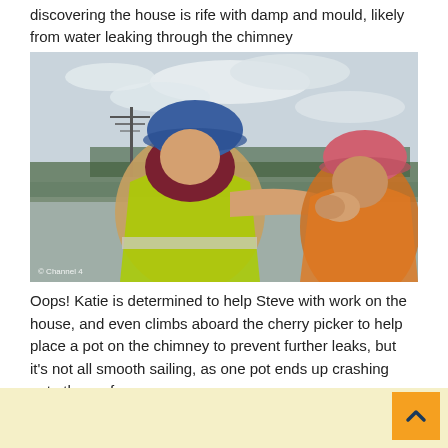discovering the house is rife with damp and mould, likely from water leaking through the chimney
[Figure (photo): Two people in hard hats and high-visibility vests working together outdoors, one in a blue helmet with a yellow vest, one in a pink helmet with an orange vest, with a TV aerial and trees visible in the background. A Channel 4 copyright watermark is visible in the bottom-left corner.]
Oops! Katie is determined to help Steve with work on the house, and even climbs aboard the cherry picker to help place a pot on the chimney to prevent further leaks, but it's not all smooth sailing, as one pot ends up crashing onto the roof